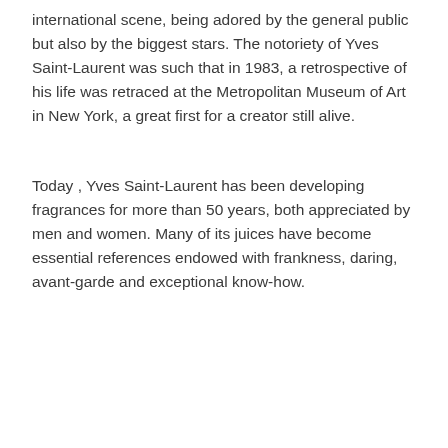international scene, being adored by the general public but also by the biggest stars. The notoriety of Yves Saint-Laurent was such that in 1983, a retrospective of his life was retraced at the Metropolitan Museum of Art in New York, a great first for a creator still alive.
Today , Yves Saint-Laurent has been developing fragrances for more than 50 years, both appreciated by men and women. Many of its juices have become essential references endowed with frankness, daring, avant-garde and exceptional know-how.